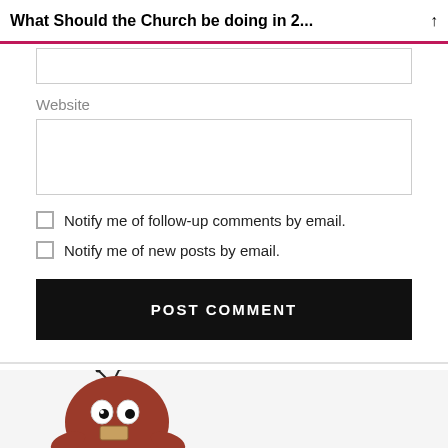What Should the Church be doing in 2...
Website
Notify me of follow-up comments by email.
Notify me of new posts by email.
POST COMMENT
[Figure (illustration): Cartoon bug/insect mascot character, reddish-brown color with antennae and large eyes, partially visible at the bottom of the page]